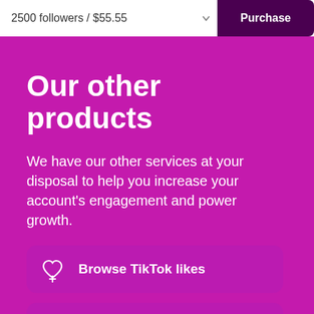2500 followers / $55.55
Purchase
Our other products
We have our other services at your disposal to help you increase your account's engagement and power growth.
Browse TikTok likes
Browse TikTok views